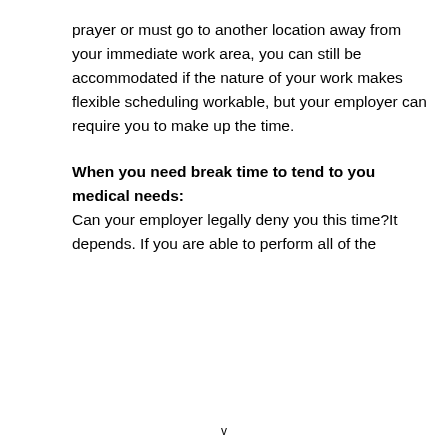prayer or must go to another location away from your immediate work area, you can still be accommodated if the nature of your work makes flexible scheduling workable, but your employer can require you to make up the time.
When you need break time to tend to you medical needs:
Can your employer legally deny you this time?It depends. If you are able to perform all of the
v